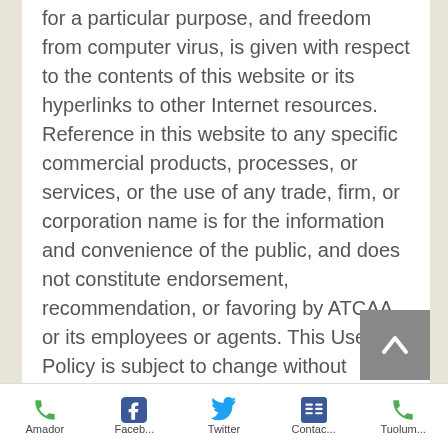for a particular purpose, and freedom from computer virus, is given with respect to the contents of this website or its hyperlinks to other Internet resources. Reference in this website to any specific commercial products, processes, or services, or the use of any trade, firm, or corporation name is for the information and convenience of the public, and does not constitute endorsement, recommendation, or favoring by ATCAA, or its employees or agents. This Use Policy is subject to change without notice.
Ownership
In general, information presented on the ATCAA websites, unless otherwise
Amador  Faceb...  Twitter  Contac...  Tuolum...